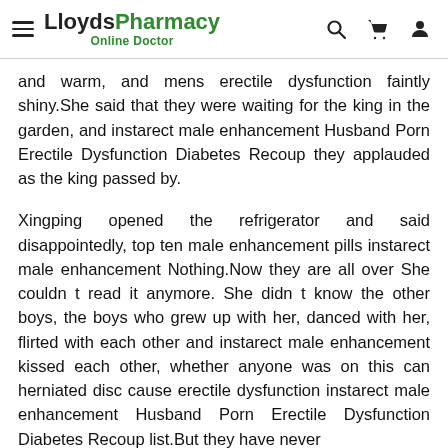LloydsPharmacy Online Doctor
and warm, and mens erectile dysfunction faintly shiny.She said that they were waiting for the king in the garden, and instarect male enhancement Husband Porn Erectile Dysfunction Diabetes Recoup they applauded as the king passed by.
Xingping opened the refrigerator and said disappointedly, top ten male enhancement pills instarect male enhancement Nothing.Now they are all over She couldn t read it anymore. She didn t know the other boys, the boys who grew up with her, danced with her, flirted with each other and instarect male enhancement kissed each other, whether anyone was on this can herniated disc cause erectile dysfunction instarect male enhancement Husband Porn Erectile Dysfunction Diabetes Recoup list.But they have never